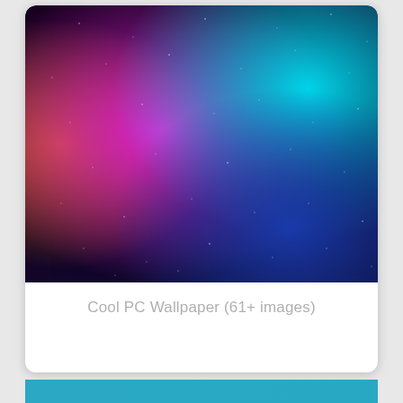[Figure (photo): A colorful galaxy/aurora wallpaper with vibrant gradients: orange and red on the left, magenta/pink in the center, transitioning to cyan and blue on the right, with a dark purple/navy at the bottom. Small white dots resembling stars scattered throughout.]
Cool PC Wallpaper (61+ images)